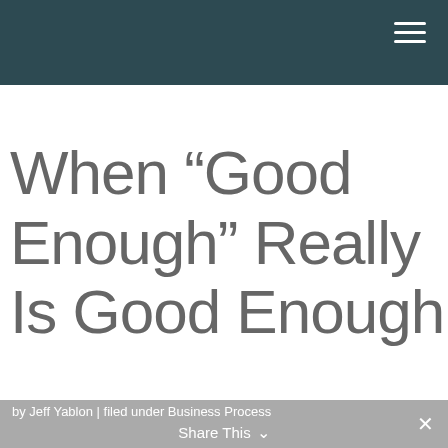When “Good Enough” Really Is Good Enough
by Jeff Yablon | filed under Business Process  Share This  ✕